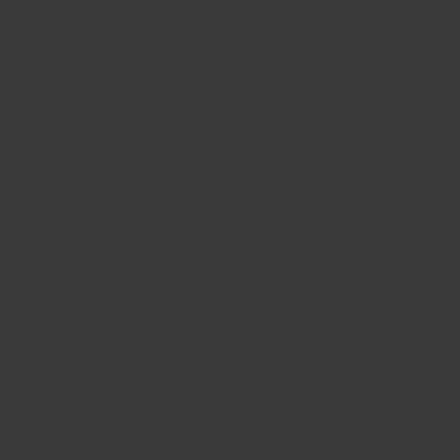MZ Plugin Help
Installing Plugins
Updating Plugins
Troubleshooting
Reference List (MZ)
Changelog
Notetags
Plugin Commands
Text Codes
Glossary
Plugins & Scripts (MZ)
Sample Game
Core Plugins
Battle Plugins
Item Plugins
Skill Plugins
Equip Plugins
Status Menu
Gameplay Plugins
Movement Plugins
Quest Plugins
Options Plugins
Eventing Plugins
<youtube>https://www.youtube.com/watch?v=YSt1SL4HAZc</youtube> |link1=<html> <iframe src="https://itch.io/embed/398010" height="167" width="552" frameborder...")
Line 9:
Line 9:
{{RequiredPluginsMV}}
{{RequiredPluginsMV}}
* [[ Class Change Core (YEP)|Class Change Core]]
* [[ Class Change Core (YEP)|Class Change Core]]